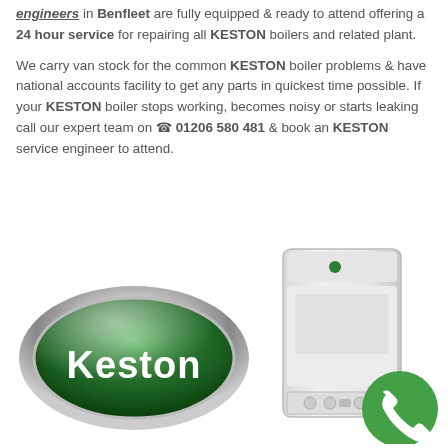engineers in Benfleet are fully equipped & ready to attend offering a 24 hour service for repairing all KESTON boilers and related plant.
We carry van stock for the common KESTON boiler problems & have national accounts facility to get any parts in quickest time possible. If your KESTON boiler stops working, becomes noisy or starts leaking call our expert team on ☎ 01206 580 481 & book an KESTON service engineer to attend.
[Figure (logo): Keston brand oval logo with green background and white text]
[Figure (photo): Keston boiler unit (white wall-mounted boiler) with a green circular phone/call button overlay at bottom right]